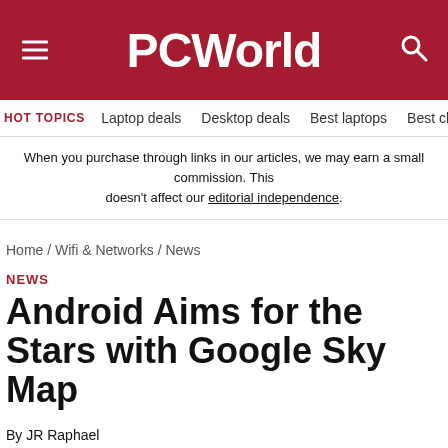PCWorld
HOT TOPICS   Laptop deals   Desktop deals   Best laptops   Best ch
When you purchase through links in our articles, we may earn a small commission. This doesn't affect our editorial independence.
Home / Wifi & Networks / News
NEWS
Android Aims for the Stars with Google Sky Map
By JR Raphael
PCWorld | MAY 12, 2009 2:35 PM PDT